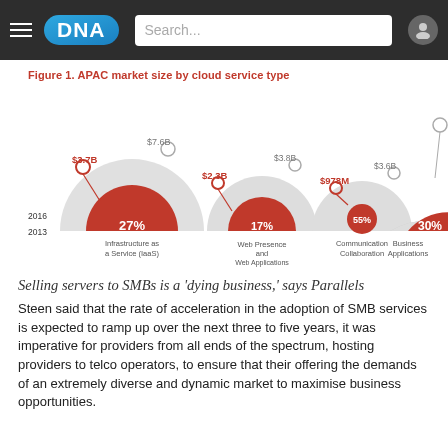DNA — Search...
Figure 1. APAC market size by cloud service type
[Figure (infographic): Semicircle bubble chart showing APAC cloud market size by service type. Infrastructure as a Service (IaaS): 2016 $3.7B, 2013 $7.6B, 27% CAGR. Web Presence and Web Applications: 2016 $2.3B, 2013 $3.8B, 17% CAGR. Communication Collaboration: 2016 $978M, 2013 $3.6B, 55% CAGR. Business Applications: 2016 large circle, 30% CAGR. Partially visible fifth category on right edge.]
Selling servers to SMBs is a 'dying business,' says Parallels
Steen said that the rate of acceleration in the adoption of SMB services is expected to ramp up over the next three to five years, it was imperative for providers from all ends of the spectrum, hosting providers to telco operators, to ensure that their offering the demands of an extremely diverse and dynamic market to maximise business opportunities.